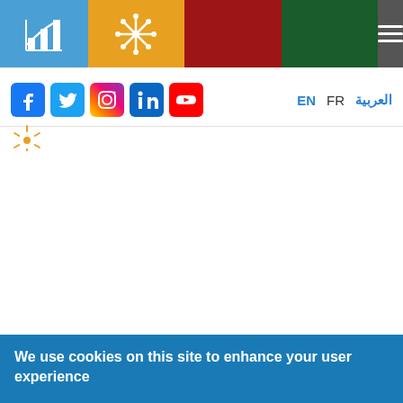Navigation header with colored segments and hamburger menu
[Figure (screenshot): Header bar with blue, orange, red, green and dark gray segments containing logo icons and hamburger menu]
[Figure (infographic): Social media icons: Facebook, Twitter, Instagram, LinkedIn, YouTube; Language options: EN, FR, العربية]
[Figure (logo): Small decorative logo/sunburst icon in yellow-orange]
We use cookies on this site to enhance your user experience